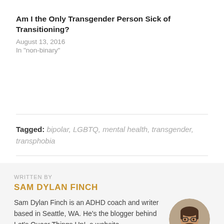Am I the Only Transgender Person Sick of Transitioning?
August 13, 2016
In "non-binary"
Tagged: bipolar, LGBTQ, mental health, transgender, transphobia
WRITTEN BY
SAM DYLAN FINCH
Sam Dylan Finch is an ADHD coach and writer based in Seattle, WA. He's the blogger behind Let's Queer Things Up!, a website
[Figure (photo): Circular portrait photo of Sam Dylan Finch, a person with glasses and a beard wearing a light-colored jacket over an orange/rust shirt, standing in front of a neutral background.]